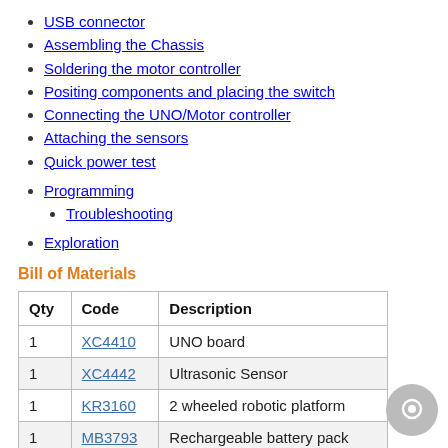USB connector
Assembling the Chassis
Soldering the motor controller
Positing components and placing the switch
Connecting the UNO/Motor controller
Attaching the sensors
Quick power test
Programming
Troubleshooting
Exploration
Bill of Materials
| Qty | Code | Description |
| --- | --- | --- |
| 1 | XC4410 | UNO board |
| 1 | XC4442 | Ultrasonic Sensor |
| 1 | KR3160 | 2 wheeled robotic platform |
| 1 | MB3793 | Rechargeable battery pack |